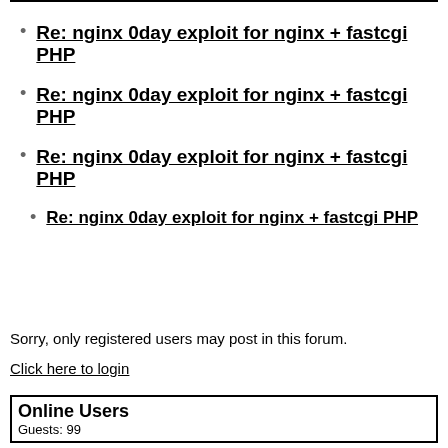Re: nginx 0day exploit for nginx + fastcgi PHP
Re: nginx 0day exploit for nginx + fastcgi PHP
Re: nginx 0day exploit for nginx + fastcgi PHP
Re: nginx 0day exploit for nginx + fastcgi PHP
Sorry, only registered users may post in this forum.
Click here to login
Online Users
Guests: 99